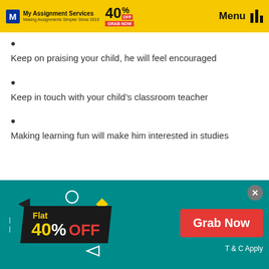My Assignment Services — Making Assignments Simpler Since 2010 | 40% OFF GRAB NOW | Menu
Keep on praising your child, he will feel encouraged
Keep in touch with your child's classroom teacher
Making learning fun will make him interested in studies
[Figure (infographic): Promotional banner: Flat 40% OFF with Grab Now button and T & C Apply text on teal background]